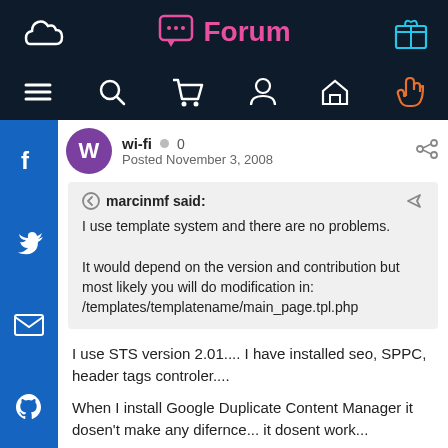Forum
wi-fi  0
Posted November 3, 2008
marcinmf said:
I use template system and there are no problems.

It would depend on the version and contribution but most likely you will do modification in:
/templates/templatename/main_page.tpl.php
I use STS version 2.01.... I have installed seo, SPPC, header tags controler....
When I install Google Duplicate Content Manager it dosen't make any difernce... it dosent work...